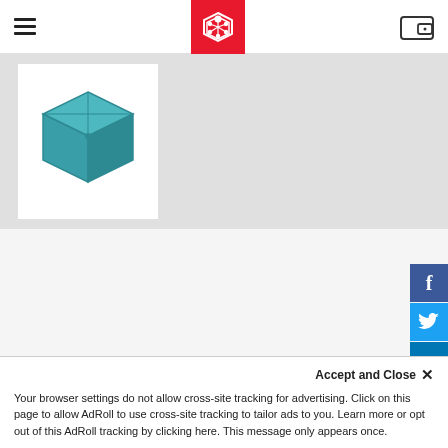Navigation bar with hamburger menu, logo, and wallet icon
[Figure (illustration): 3D teal/turquoise cube icon representing IPFS product logo on white background]
IPFS
by Protocol Labs
WEB3
BLOCKCHAIN
FILE STORAGE
Set up plan
Accept and Close ×
Your browser settings do not allow cross-site tracking for advertising. Click on this page to allow AdRoll to use cross-site tracking to tailor ads to you. Learn more or opt out of this AdRoll tracking by clicking here. This message only appears once.